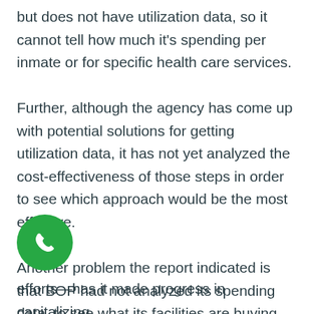but does not have utilization data, so it cannot tell how much it's spending per inmate or for specific health care services. Further, although the agency has come up with potential solutions for getting utilization data, it has not yet analyzed the cost-effectiveness of those steps in order to see which approach would be the most effective. Another problem the report indicated is that BOP had not analyzed its spending data, to see what its facilities are buying, from whom and how much they spend. Nor, despite some efforts—such as nationwide contracts and interagency cooperative efforts—has it made progress in capitalizing